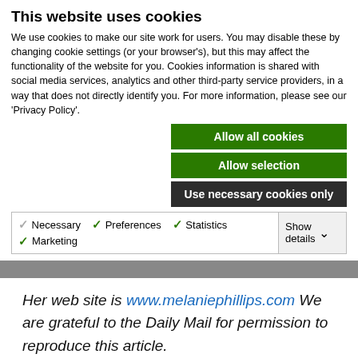This website uses cookies
We use cookies to make our site work for users. You may disable these by changing cookie settings (or your browser's), but this may affect the functionality of the website for you. Cookies information is shared with social media services, analytics and other third-party service providers, in a way that does not directly identify you. For more information, please see our 'Privacy Policy'.
Allow all cookies
Allow selection
Use necessary cookies only
Necessary  Preferences  Statistics  Marketing  Show details
Her web site is www.melaniephillips.com We are grateful to the Daily Mail for permission to reproduce this article.
The Strategy – after the long wait